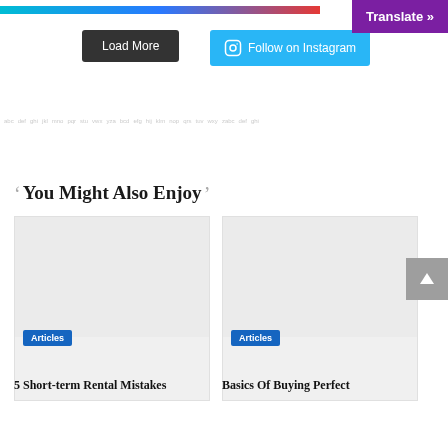[Figure (screenshot): Top color bar strip in blue and red gradient]
Translate »
Load More
Follow on Instagram
You Might Also Enjoy
[Figure (photo): Article card image placeholder for '5 Short-term Rental Mistakes']
Articles
5 Short-term Rental Mistakes
[Figure (photo): Article card image placeholder for 'Basics Of Buying Perfect']
Articles
Basics Of Buying Perfect